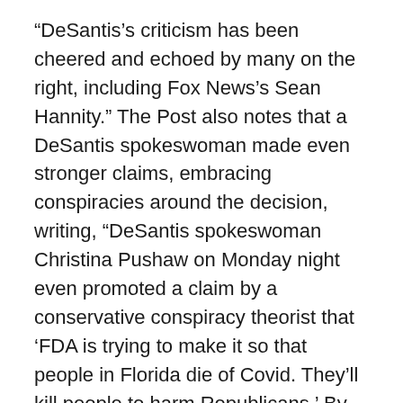“DeSantis’s criticism has been cheered and echoed by many on the right, including Fox News’s Sean Hannity.” The Post also notes that a DeSantis spokeswoman made even stronger claims, embracing conspiracies around the decision, writing, “DeSantis spokeswoman Christina Pushaw on Monday night even promoted a claim by a conservative conspiracy theorist that ‘FDA is trying to make it so that people in Florida die of Covid. They’ll kill people to harm Republicans.’ By Tuesday morning, she promoted another baseless claim that the decision was made ‘so Fauci-Pfizer can get a few extra points in the stock market.’”
Judge Grants Stay, Allowing New York Mask Mandate to Continue
On Tuesday, an appeals court judge issued a stay, temporarily blocking a lower court’s ruling that